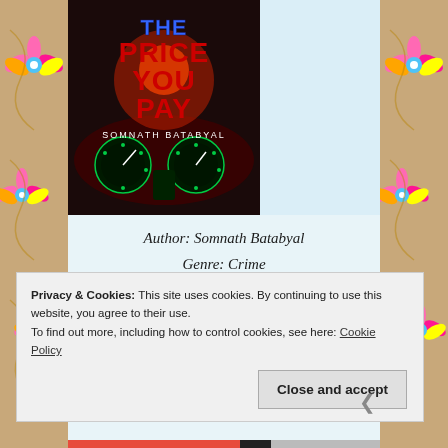[Figure (illustration): Book cover for 'The Price You Pay' by Somnath Batabyal, published by Harper Collins. Dark cover showing car dashboard with glowing gauges and red/blue title text.]
Author: Somnath Batabyal
Genre: Crime
Publisher: Harper Collins
Privacy & Cookies: This site uses cookies. By continuing to use this website, you agree to their use.
To find out more, including how to control cookies, see here: Cookie Policy
Close and accept